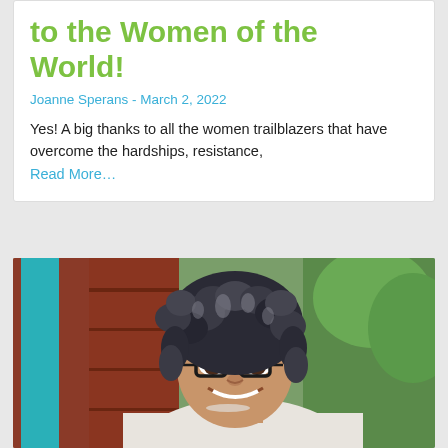to the Women of the World!
Joanne Sperans - March 2, 2022
Yes! A big thanks to all the women trailblazers that have overcome the hardships, resistance,
Read More…
[Figure (photo): A smiling older woman with curly grey-black hair, wearing glasses and a light-colored top, photographed outdoors near a teal door and red wooden background with green foliage.]